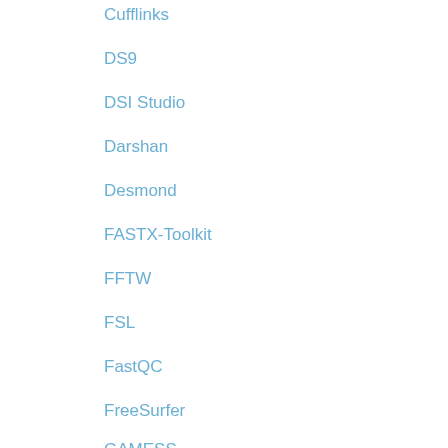Cufflinks
DS9
DSI Studio
Darshan
Desmond
FASTX-Toolkit
FFTW
FSL
FastQC
FreeSurfer
GAMESS
GATK
GLPK
GMAP
GNU Compilers
GROMACS
Gaussian
Git